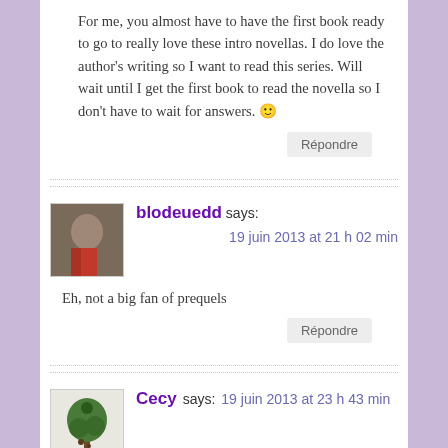For me, you almost have to have the first book ready to go to really love these intro novellas. I do love the author's writing so I want to read this series. Will wait until I get the first book to read the novella so I don't have to wait for answers. 🙂
blodeuedd says: 19 juin 2013 at 21 h 02 min
Eh, not a big fan of prequels
Cecy says: 19 juin 2013 at 23 h 43 min
Kait Ballenger is a rising star, I am so